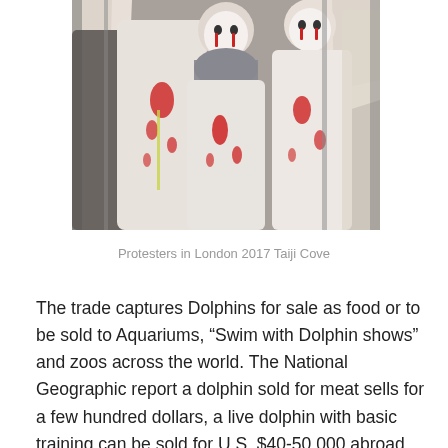[Figure (photo): Protesters in London wearing white costumes with red paint simulating blood and white masks with red tears, holding white flags. Taiji Cove protest 2017.]
Protesters in London 2017 Taiji Cove
The trade captures Dolphins for sale as food or to be sold to Aquariums, “Swim with Dolphin shows” and zoos across the world. The National Geographic report a dolphin sold for meat sells for a few hundred dollars, a live dolphin with basic training can be sold for U.S. $40-50,000 abroad and $20-30,000 in Japan. The Cove, a film which brought this to the worlds attention reports the sale price for performing dolphins is